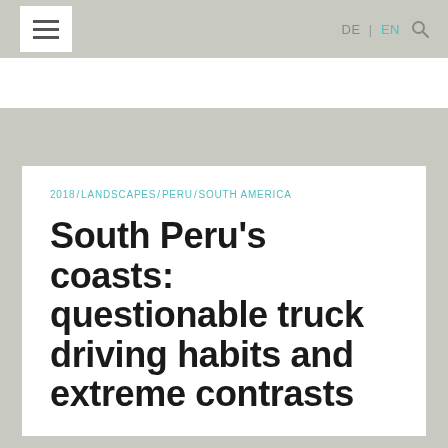DE | EN [search icon] [hamburger menu]
2018 / LANDSCAPES / PERU / SOUTH AMERICA
South Peru's coasts: questionable truck driving habits and extreme contrasts